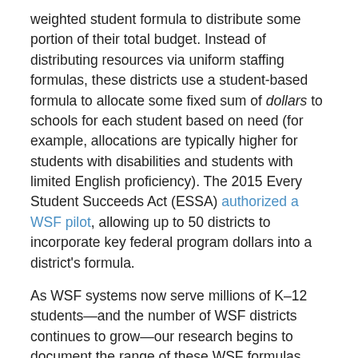weighted student formula to distribute some portion of their total budget. Instead of distributing resources via uniform staffing formulas, these districts use a student-based formula to allocate some fixed sum of dollars to schools for each student based on need (for example, allocations are typically higher for students with disabilities and students with limited English proficiency). The 2015 Every Student Succeeds Act (ESSA) authorized a WSF pilot, allowing up to 50 districts to incorporate key federal program dollars into a district's formula.
As WSF systems now serve millions of K–12 students—and the number of WSF districts continues to grow—our research begins to document the range of these WSF formulas and gather details around how they are being implemented in school systems around the nation.
Why do districts adopt WSF?
Our study of school board and budget documentation indicates that nearly all districts identify equity (89%) and flexibility for school principals (79%) as key motivations, with nearly half